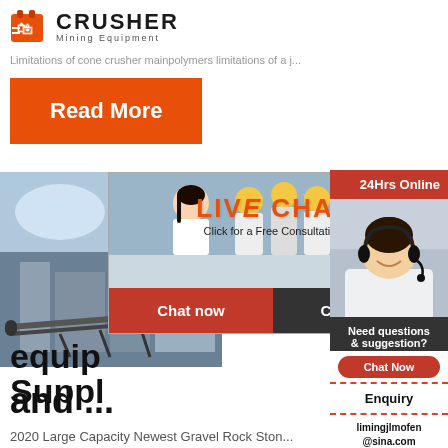[Figure (logo): Crusher Mining Equipment logo with red shopping bag icon]
Limitations of cone crusher mainpolymers limitations of a j...
Read More
[Figure (photo): Factory/industrial facility with conveyor belts]
[Figure (photo): Live Chat popup with workers in hard hats and customer service representative]
equip
Suppl
and ...
24Hrs Online
[Figure (photo): Customer service representative with headset]
Need questions & suggestion?
Chat Now
Enquiry
limingjlmofen@sina.com
2020 Large Capacity Newest Gravel Rock Ston...